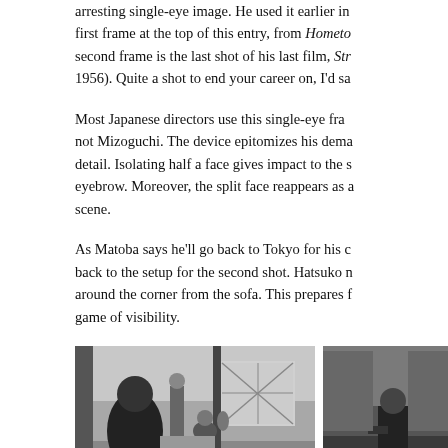arresting single-eye image. He used it earlier in first frame at the top of this entry, from Hometo second frame is the last shot of his last film, Str 1956). Quite a shot to end your career on, I'd sa
Most Japanese directors use this single-eye fra not Mizoguchi. The device epitomizes his dema detail. Isolating half a face gives impact to the s eyebrow. Moreover, the split face reappears as a scene.
As Matoba says he'll go back to Tokyo for his c back to the setup for the second shot. Hatsuko n around the corner from the sofa. This prepares f game of visibility.
[Figure (photo): Two black-and-white film stills side by side. Left image shows a woman with her back turned, a standing figure, and someone seated in a room. Right image shows a person seated in a darker room.]